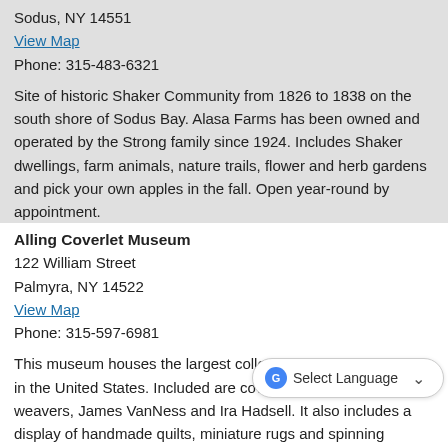Sodus, NY 14551
View Map
Phone: 315-483-6321
Site of historic Shaker Community from 1826 to 1838 on the south shore of Sodus Bay. Alasa Farms has been owned and operated by the Strong family since 1924. Includes Shaker dwellings, farm animals, nature trails, flower and herb gardens and pick your own apples in the fall. Open year-round by appointment.
Alling Coverlet Museum
122 William Street
Palmyra, NY 14522
View Map
Phone: 315-597-6981
This museum houses the largest collection of woven coverlets in the United States. Included are coverlets by Palmyra weavers, James VanNess and Ira Hadsell. It also includes a display of handmade quilts, miniature rugs and spinning equipment. Open June through September and other times by appointment.
Arcadia